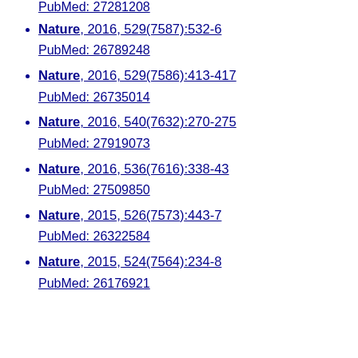PubMed: 27281208
Nature, 2016, 529(7587):532-6
PubMed: 26789248
Nature, 2016, 529(7586):413-417
PubMed: 26735014
Nature, 2016, 540(7632):270-275
PubMed: 27919073
Nature, 2016, 536(7616):338-43
PubMed: 27509850
Nature, 2015, 526(7573):443-7
PubMed: 26322584
Nature, 2015, 524(7564):234-8
PubMed: 26176921